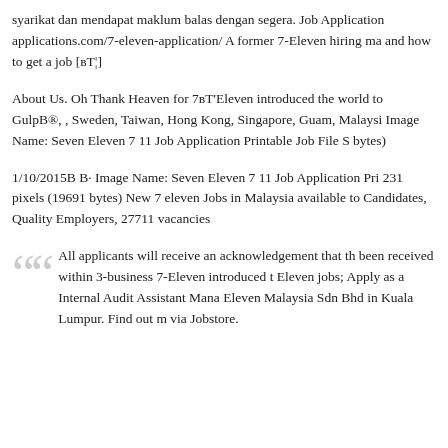syarikat dan mendapat maklum balas dengan segera. Job Application applications.com/7-eleven-application/ A former 7-Eleven hiring ma and how to get a job [вТ¦]
About Us. Oh Thank Heaven for 7вТ'Eleven introduced the world to GulpB®, , Sweden, Taiwan, Hong Kong, Singapore, Guam, Malaysi Image Name: Seven Eleven 7 11 Job Application Printable Job File S bytes)
1/10/2015B B· Image Name: Seven Eleven 7 11 Job Application Pri 231 pixels (19691 bytes) New 7 eleven Jobs in Malaysia available to Candidates, Quality Employers, 27711 vacancies
All applicants will receive an acknowledgement that th been received within 3-business 7-Eleven introduced t Eleven jobs; Apply as a Internal Audit Assistant Mana Eleven Malaysia Sdn Bhd in Kuala Lumpur. Find out m via Jobstore.